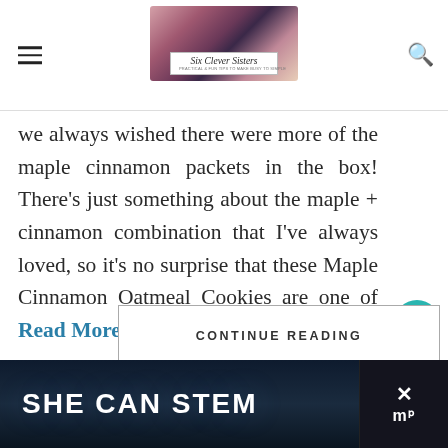[Figure (logo): Six Clever Sisters blog logo with group photo of six women and script text overlay]
we always wished there were more of the maple cinnamon packets in the box! There's just something about the maple + cinnamon combination that I've always loved, so it's no surprise that these Maple Cinnamon Oatmeal Cookies are one of Read More
CONTINUE READING
WHAT'S NEXT → Organization
[Figure (infographic): SHE CAN STEM advertisement banner with dark blue background and close button]